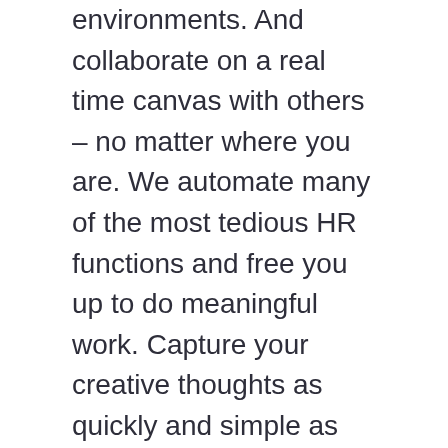environments. And collaborate on a real time canvas with others – no matter where you are. We automate many of the most tedious HR functions and free you up to do meaningful work. Capture your creative thoughts as quickly and simple as on real paper and share them instantly with colleagues and friends. Take the other nib, press up gently to install. There are six tools and Wacom's WILL™ universal that make that possible. Work Life blog. Trust & security. Toonia Colorbook is a good option when … Effortlessly sync your Bamboo Paper and Smartpad content between different devices and easily share your notes and drawings with others. CREATE YOUR OWN COLORS Set any color and create a custom color palette with 36